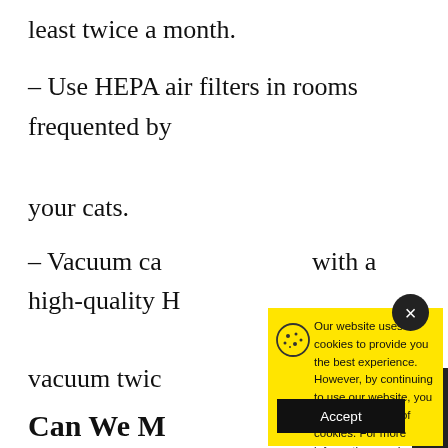least twice a month.
– Use HEPA air filters in rooms frequented by your cats.
– Vacuum ca… with a high-quality HE… vacuum twic…
Can We M… Allergeni…
STEP 4: Re…
friendly wipes or a damp microfiber cloth to
Our website uses cookies to provide you the best experience. However, by continuing to use our website, you agree to our use of cookies. For more information, read our Cookie Policy.
Accept